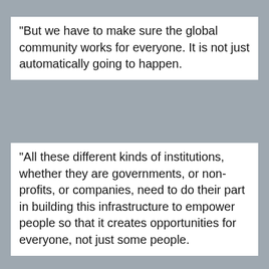"But we have to make sure the global community works for everyone. It is not just automatically going to happen.
"All these different kinds of institutions, whether they are governments, or non-profits, or companies, need to do their part in building this infrastructure to empower people so that it creates opportunities for everyone, not just some people.
"If you are upset about the direction things are going in, I hope you don't just sit around and be upset, but you feel urgent about building the long term infrastructure that needs to get built," Mr Zuckerberg said.
GLOBAL CHALLENGES
I asked him whether he felt President Trump agreed with his view that "bringing people together" and